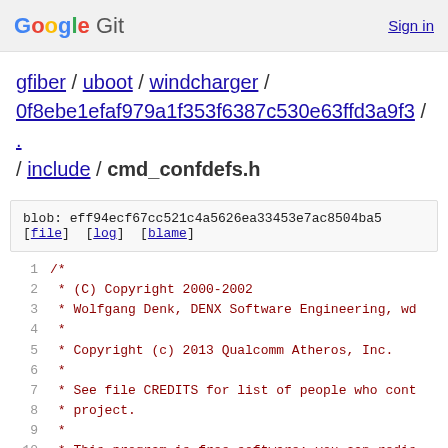Google Git   Sign in
gfiber / uboot / windcharger / 0f8ebe1efaf979a1f353f6387c530e63ffd3a9f3 / . / include / cmd_confdefs.h
blob: eff94ecf67cc521c4a5626ea33453e7ac8504ba5
[file] [log] [blame]
1  /*
2   * (C) Copyright 2000-2002
3   * Wolfgang Denk, DENX Software Engineering, wd
4   *
5   * Copyright (c) 2013 Qualcomm Atheros, Inc.
6   *
7   * See file CREDITS for list of people who cont
8   * project.
9   *
10  * This program is free software; you can redis